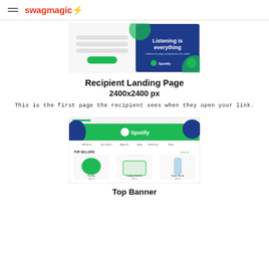swagmagic⚡
[Figure (screenshot): Screenshot of a Spotify recipient landing page showing a form on the left and a blue Spotify banner with 'Listening is everything' on the right]
Recipient Landing Page
2400x2400 px
This is the first page the recipient sees when they open your link.
[Figure (screenshot): Screenshot of a Spotify-branded swag store page with green Spotify header banner and product listings including a hoodie, laptop sticker, and water bottle]
Top Banner